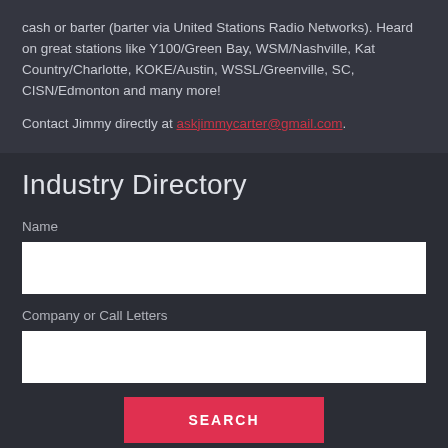cash or barter (barter via United Stations Radio Networks). Heard on great stations like Y100/Green Bay, WSM/Nashville, Kat Country/Charlotte, KOKE/Austin, WSSL/Greenville, SC, CISN/Edmonton and many more!
Contact Jimmy directly at askjimmycarter@gmail.com.
Industry Directory
Name
Company or Call Letters
SEARCH